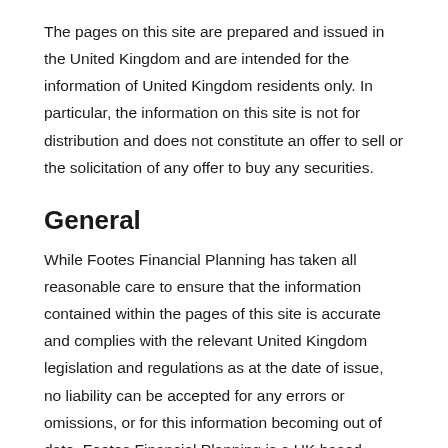The pages on this site are prepared and issued in the United Kingdom and are intended for the information of United Kingdom residents only. In particular, the information on this site is not for distribution and does not constitute an offer to sell or the solicitation of any offer to buy any securities.
General
While Footes Financial Planning has taken all reasonable care to ensure that the information contained within the pages of this site is accurate and complies with the relevant United Kingdom legislation and regulations as at the date of issue, no liability can be accepted for any errors or omissions, or for this information becoming out of date. Footes Financial Planning is a UK based company and not affiliated with any other investment or wealth management company with a similar